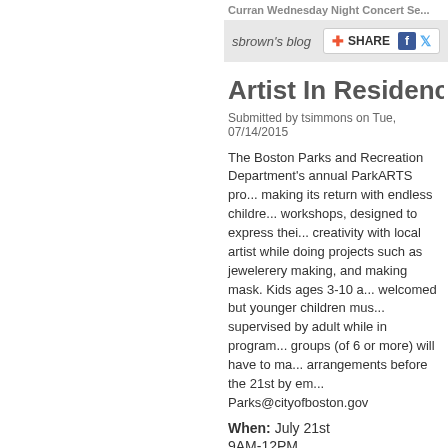Curran Wednesday Night Concert Se...
sbrown's blog
Artist In Residence Wor...
Submitted by tsimmons on Tue, 07/14/2015
The Boston Parks and Recreation Department's annual ParkARTS pro... making its return with endless childre... workshops, designed to express thei... creativity with local artist while doing projects such as jewelerery making, and making mask. Kids ages 3-10 a... welcomed but younger children mus... supervised by adult while in program... groups (of 6 or more) will have to ma... arrangements before the 21st by em... Parks@cityofboston.gov
When: July 21st
9AM-12PM
Where:
Doherty Playground
1545 Dorchester Ave